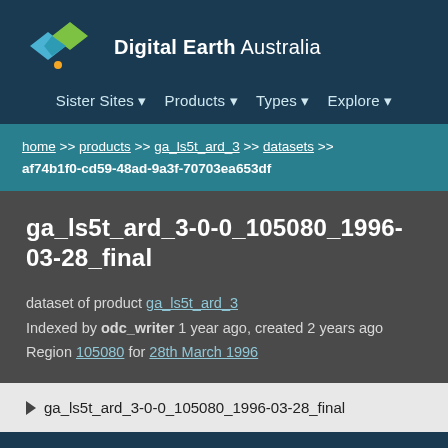[Figure (logo): Digital Earth Australia logo with diamond/rhombus shapes in blue and green colors with an orange dot]
Digital Earth Australia
Sister Sites ▼   Products ▼   Types ▼   Explore ▼
home >> products >> ga_ls5t_ard_3 >> datasets >> af74b1f0-cd59-48ad-9a3f-70703ea653df
ga_ls5t_ard_3-0-0_105080_1996-03-28_final
dataset of product ga_ls5t_ard_3
Indexed by odc_writer 1 year ago, created 2 years ago
Region 105080 for 28th March 1996
▶ ga_ls5t_ard_3-0-0_105080_1996-03-28_final